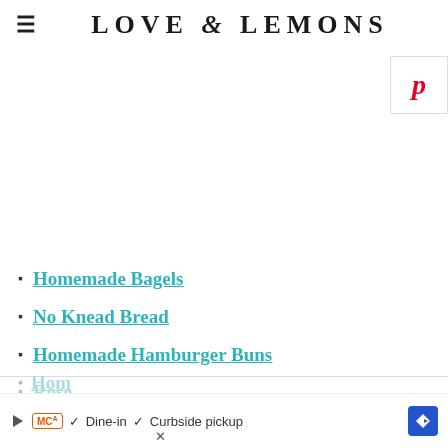LOVE & LEMONS
[Figure (logo): Pinterest P button icon in red]
Homemade Bagels
No Knead Bread
Homemade Hamburger Buns
Rose...
Hom...
[Figure (screenshot): Ad bar: play button, McA badge, checkmarks, Dine-in, Curbside pickup text, navigation arrow diamond, close X]